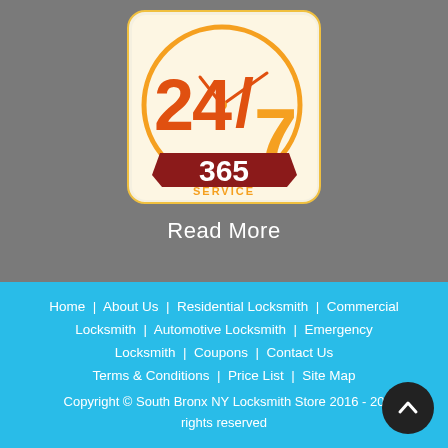[Figure (logo): 24/7 365 Service logo with clock design, orange and red colors on white rounded square background]
Read More
Home | About Us | Residential Locksmith | Commercial Locksmith | Automotive Locksmith | Emergency Locksmith | Coupons | Contact Us
Terms & Conditions | Price List | Site Map
Copyright © South Bronx NY Locksmith Store 2016 - 20__ rights reserved